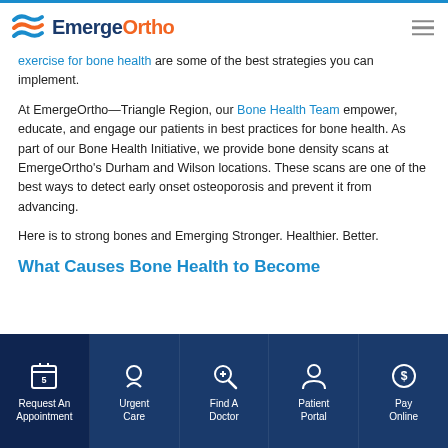EmergeOrtho
exercise for bone health are some of the best strategies you can implement.
At EmergeOrtho—Triangle Region, our Bone Health Team empower, educate, and engage our patients in best practices for bone health. As part of our Bone Health Initiative, we provide bone density scans at EmergeOrtho's Durham and Wilson locations. These scans are one of the best ways to detect early onset osteoporosis and prevent it from advancing.
Here is to strong bones and Emerging Stronger. Healthier. Better.
What Causes Bone Health to Become
Request An Appointment | Urgent Care | Find A Doctor | Patient Portal | Pay Online